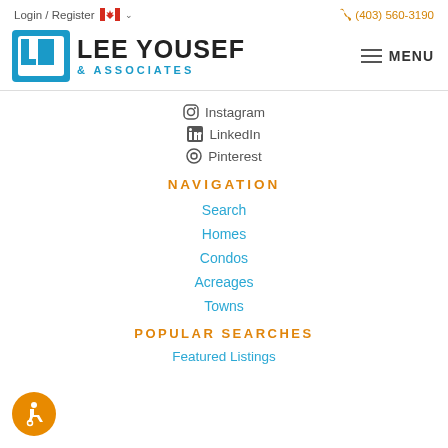Login / Register  🇨🇦 ∨   (403) 560-3190
[Figure (logo): Lee Yousef & Associates logo with blue bracket icon and bold text]
Instagram
LinkedIn
Pinterest
NAVIGATION
Search
Homes
Condos
Acreages
Towns
POPULAR SEARCHES
Featured Listings